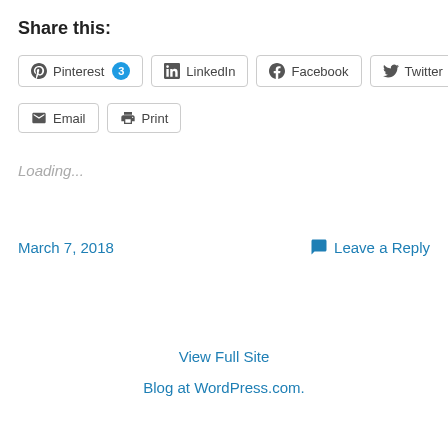Share this:
Pinterest 3 | LinkedIn | Facebook | Twitter | Email | Print
Loading...
March 7, 2018
Leave a Reply
View Full Site
Blog at WordPress.com.